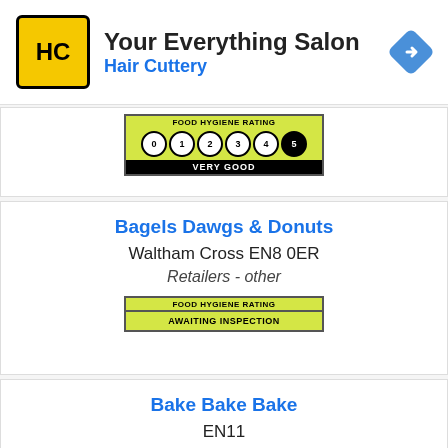[Figure (logo): Hair Cuttery yellow square logo with HC letters, advertisement banner with navigation arrow icon. Text: 'Your Everything Salon' and 'Hair Cuttery']
[Figure (infographic): Food Hygiene Rating badge showing score 5 - VERY GOOD with circles 0-5]
Bagels Dawgs & Donuts
Waltham Cross EN8 0ER
Retailers - other
[Figure (infographic): Food Hygiene Rating badge - AWAITING INSPECTION]
Bake Bake Bake
EN11
Other catering premises
[Figure (infographic): Food Hygiene Rating badge showing score 5 (partially visible)]